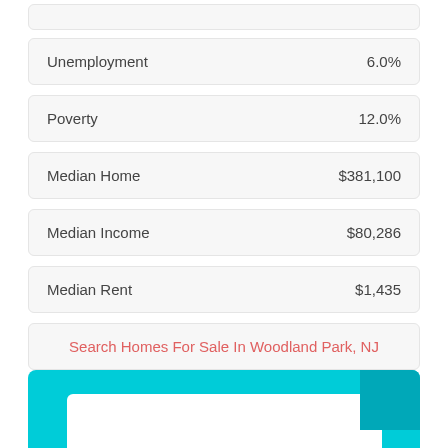| Indicator | Value |
| --- | --- |
| Unemployment | 6.0% |
| Poverty | 12.0% |
| Median Home | $381,100 |
| Median Income | $80,286 |
| Median Rent | $1,435 |
Search Homes For Sale In Woodland Park, NJ
Woodland Park SnackAbility
[Figure (infographic): Cyan/teal colored card with white inner panel at bottom, partially visible — the Woodland Park SnackAbility score card]